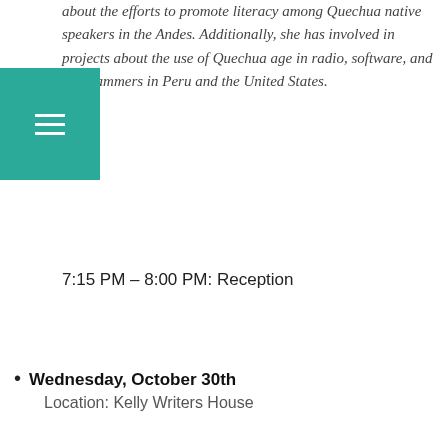about the efforts to promote literacy among Quechua native speakers in the Andes. Additionally, she has involved in projects about the use of Quechua age in radio, software, and programmers in Peru and the United States.
7:15 PM – 8:00 PM: Reception
Wednesday, October 30th
Location: Kelly Writers House
12:00 – 1:30 PM: Lunch rountable: What does it mean to reclaim a language? Participants: Stephanie Mach (Diné/Navajo), Janice Llamoca (Quechua), Moderator: Connor Beard (Lumbee Tribe) .  Sign up here